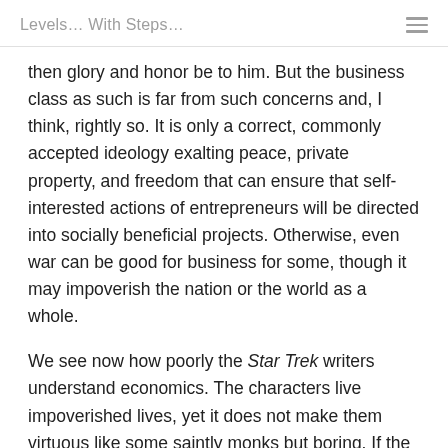Levels… With Steps…
then glory and honor be to him. But the business class as such is far from such concerns and, I think, rightly so. It is only a correct, commonly accepted ideology exalting peace, private property, and freedom that can ensure that self-interested actions of entrepreneurs will be directed into socially beneficial projects. Otherwise, even war can be good for business for some, though it may impoverish the nation or the world as a whole.
We see now how poorly the Star Trek writers understand economics. The characters live impoverished lives, yet it does not make them virtuous like some saintly monks but boring. If the shows were not produced by private enterprise and were not, in addition, hugely popular, I would argue